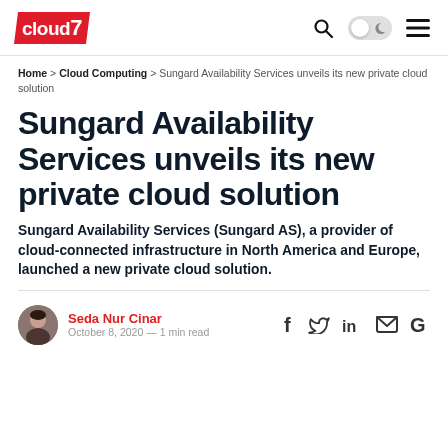cloud7 [logo header with search, theme toggle, and menu icons]
Home > Cloud Computing > Sungard Availability Services unveils its new private cloud solution
Sungard Availability Services unveils its new private cloud solution
Sungard Availability Services (Sungard AS), a provider of cloud-connected infrastructure in North America and Europe, launched a new private cloud solution.
Seda Nur Cinar
October 8, 2020 — 1 min read